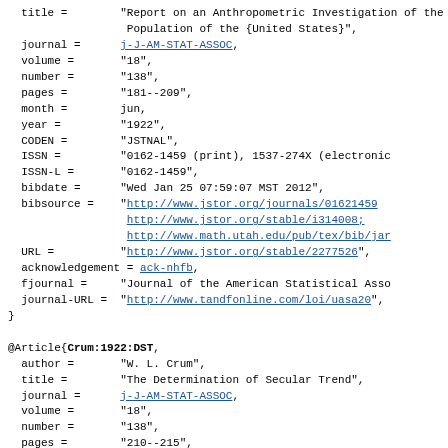title =        "Report on an Anthropometric Investigation of the Population of the {United States}",
  journal =       j-J-AM-STAT-ASSOC,
  volume =        "18",
  number =        "138",
  pages =         "181--209",
  month =         jun,
  year =          "1922",
  CODEN =         "JSTNAL",
  ISSN =          "0162-1459 (print), 1537-274X (electronic)",
  ISSN-L =        "0162-1459",
  bibdate =       "Wed Jan 25 07:59:07 MST 2012",
  bibsource =     "http://www.jstor.org/journals/01621459;
                   http://www.jstor.org/stable/i314008;
                   http://www.math.utah.edu/pub/tex/bib/jar
  URL =           "http://www.jstor.org/stable/2277526",
  acknowledgement = ack-nhfb,
  fjournal =      "Journal of the American Statistical Ass
  journal-URL =   "http://www.tandfonline.com/loi/uasa20",
}

@Article{Crum:1922:DST,
  author =        "W. L. Crum",
  title =         "The Determination of Secular Trend",
  journal =       j-J-AM-STAT-ASSOC,
  volume =        "18",
  number =        "138",
  pages =         "210--215",
  month =         jun,
  year =          "1922",